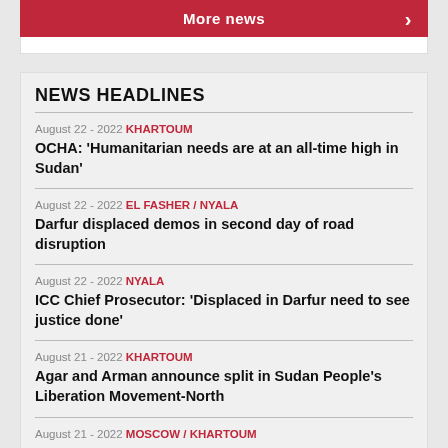More news
NEWS HEADLINES
August 22 - 2022 KHARTOUM
OCHA: 'Humanitarian needs are at an all-time high in Sudan'
August 22 - 2022 EL FASHER / NYALA
Darfur displaced demos in second day of road disruption
August 22 - 2022 NYALA
ICC Chief Prosecutor: 'Displaced in Darfur need to see justice done'
August 21 - 2022 KHARTOUM
Agar and Arman announce split in Sudan People's Liberation Movement-North
August 21 - 2022 MOSCOW / KHARTOUM